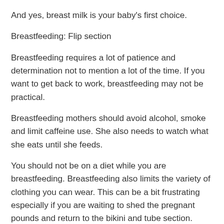And yes, breast milk is your baby's first choice.
Breastfeeding: Flip section
Breastfeeding requires a lot of patience and determination not to mention a lot of the time. If you want to get back to work, breastfeeding may not be practical.
Breastfeeding mothers should avoid alcohol, smoke and limit caffeine use. She also needs to watch what she eats until she feeds.
You should not be on a diet while you are breastfeeding. Breastfeeding also limits the variety of clothing you can wear. This can be a bit frustrating especially if you are waiting to shed the pregnant pounds and return to the bikini and tube section.
Nursing is not recommended for mothers with certain medical conditions or specific medications.
In favor of bottle feeding